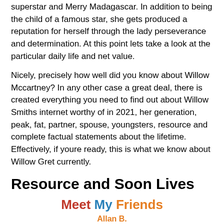superstar and Merry Madagascar. In addition to being the child of a famous star, she gets produced a reputation for herself through the lady perseverance and determination. At this point lets take a look at the particular daily life and net value.
Nicely, precisely how well did you know about Willow Mccartney? In any other case a great deal, there is created everything you need to find out about Willow Smiths internet worthy of in 2021, her generation, peak, fat, partner, spouse, youngsters, resource and complete factual statements about the lifetime. Effectively, if youre ready, this is what we know about Willow Gret currently.
Resource and Soon Lives
[Figure (illustration): Cartoon illustration with colorful text 'Meet My Friends' and 'Allan B.' above cartoon character heads partially visible at bottom]